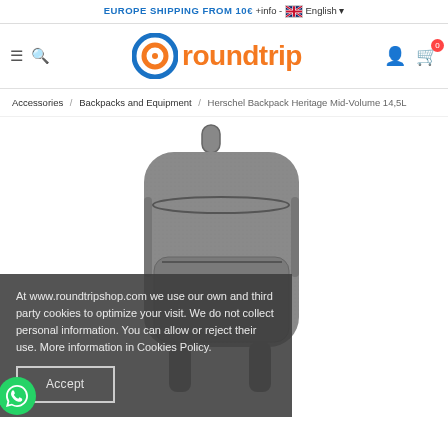EUROPE SHIPPING FROM 10€ +info - English
[Figure (logo): Roundtrip shop logo with orange text and blue/orange circular icon]
Accessories / Backpacks and Equipment / Herschel Backpack Heritage Mid-Volume 14,5L
[Figure (photo): Grey Herschel Heritage Mid-Volume 14.5L backpack on white background]
At www.roundtripshop.com we use our own and third party cookies to optimize your visit. We do not collect personal information. You can allow or reject their use. More information in Cookies Policy.
Accept